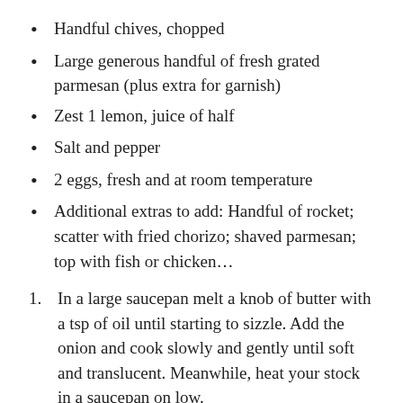Handful chives, chopped
Large generous handful of fresh grated parmesan (plus extra for garnish)
Zest 1 lemon, juice of half
Salt and pepper
2 eggs, fresh and at room temperature
Additional extras to add: Handful of rocket; scatter with fried chorizo; shaved parmesan; top with fish or chicken…
In a large saucepan melt a knob of butter with a tsp of oil until starting to sizzle. Add the onion and cook slowly and gently until soft and translucent. Meanwhile, heat your stock in a saucepan on low.
Add the garlic to the onion and cook for a